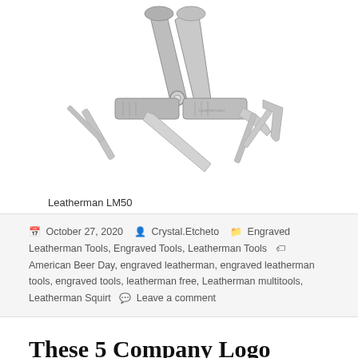[Figure (photo): Photo of a Leatherman LM50 multi-tool open with various blades and tools extended, silver/stainless steel, on white background]
Leatherman LM50
October 27, 2020   Crystal.Etcheto   Engraved Leatherman Tools, Engraved Tools, Leatherman Tools   American Beer Day, engraved leatherman, engraved leatherman tools, engraved tools, leatherman free, Leatherman multitools, Leatherman Squirt   Leave a comment
These 5 Company Logo